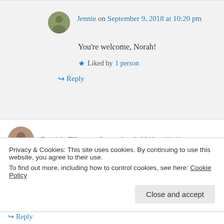Jennie on September 9, 2018 at 10:20 pm
You're welcome, Norah!
★ Liked by 1 person
↪ Reply
Patricia Tilton on September 8, 2018 at 11:41 pm
Privacy & Cookies: This site uses cookies. By continuing to use this website, you agree to their use.
To find out more, including how to control cookies, see here: Cookie Policy
Close and accept
↪ Reply